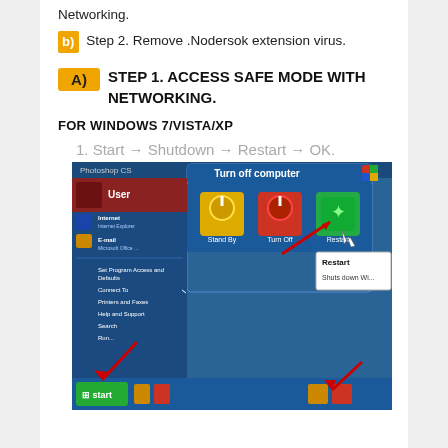Networking.
b) Step 2. Remove .Nodersok extension virus.
A) STEP 1. ACCESS SAFE MODE WITH NETWORKING.
FOR WINDOWS 7/VISTA/XP
1. Start → Shutdown → Restart → OK.
[Figure (screenshot): Windows XP 'Turn off computer' dialog showing Stand By, Turn Off, and Restart options with red arrows pointing to Restart button and Start menu taskbar.]